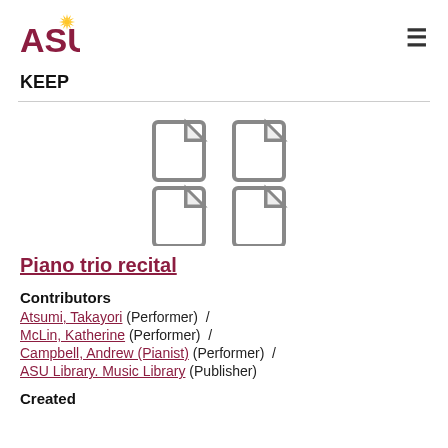[Figure (logo): Arizona State University logo with ASU text in maroon and gold sunburst, followed by 'Arizona State University' text in maroon]
KEEP
[Figure (illustration): Four document/file icons arranged in a 2x2 grid, grey outlined style]
Piano trio recital
Contributors
Atsumi, Takayori (Performer)  /
McLin, Katherine (Performer)  /
Campbell, Andrew (Pianist) (Performer)  /
ASU Library. Music Library (Publisher)
Created